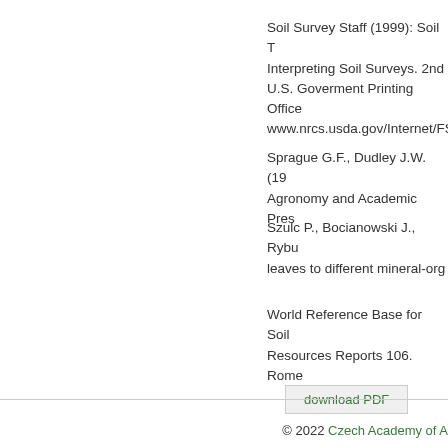Soil Survey Staff (1999): Soil T Interpreting Soil Surveys. 2nd U.S. Goverment Printing Office www.nrcs.usda.gov/Internet/FS
Sprague G.F., Dudley J.W. (19 Agronomy and Academic Pres
Szulc P., Bocianowski J., Rybu leaves to different mineral-org
World Reference Base for Soil Resources Reports 106. Rome
download PDF
© 2022 Czech Academy of A